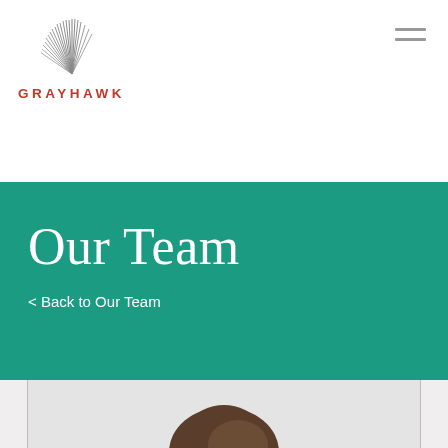GRAYHAWK
Our Team
< Back to Our Team
[Figure (photo): Partial headshot of a person with dark hair against a light gray background, cropped at the bottom of the page]